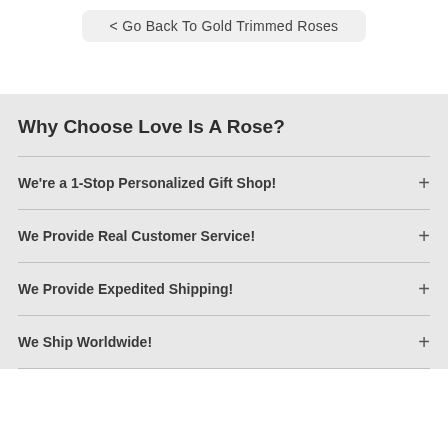< Go Back To Gold Trimmed Roses
Why Choose Love Is A Rose?
We're a 1-Stop Personalized Gift Shop!
We Provide Real Customer Service!
We Provide Expedited Shipping!
We Ship Worldwide!